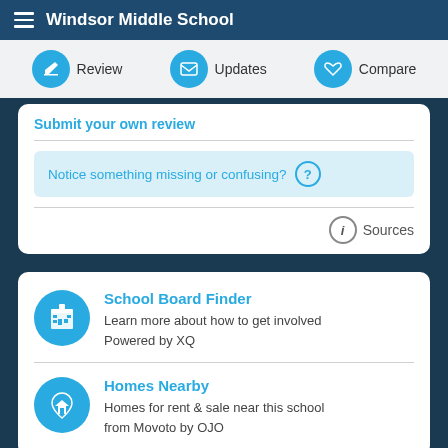Windsor Middle School
Review   Updates   Compare
Submit your own review
Notice something missing or confusing? ?
Sources
School Board Finder
Learn more about how to get involved
Powered by XQ
Homes Nearby
Homes for rent & sale near this school
from Movoto by OJO